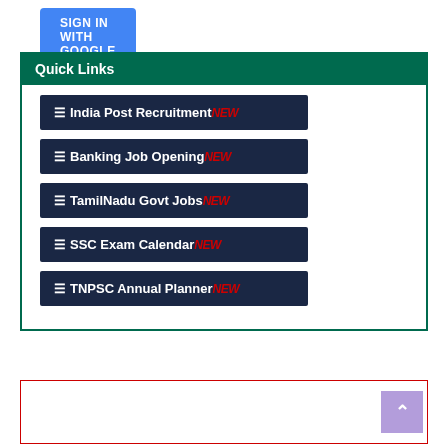[Figure (other): Blue 'Sign in with Google' button at top of page]
Quick Links
≡India Post Recruitment NEW
≡Banking Job Opening NEW
≡TamilNadu Govt Jobs NEW
≡SSC Exam Calendar NEW
≡TNPSC Annual Planner NEW
[Figure (other): Empty red-bordered box at bottom of page with purple scroll-to-top button]